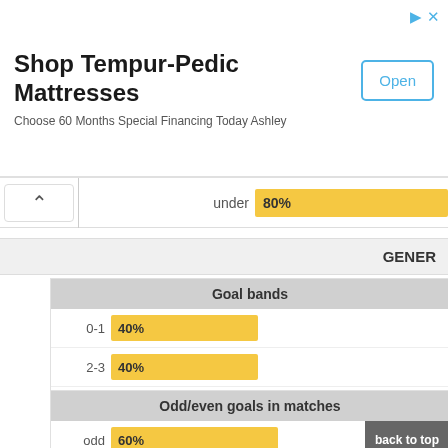[Figure (screenshot): Advertisement banner for Shop Tempur-Pedic Mattresses with Open button]
under 80%
GENER
Goal bands
[Figure (bar-chart): Goal bands]
Odd/even goals in matches
[Figure (bar-chart): Odd/even goals in matches]